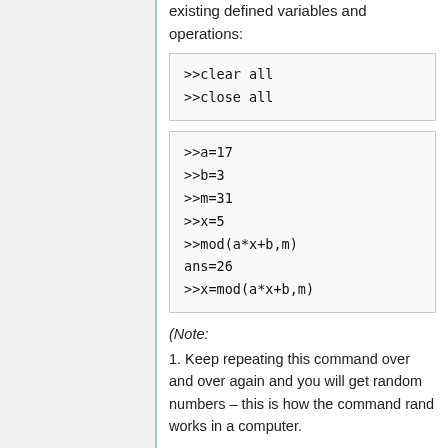existing defined variables and operations:
>>clear all
>>close all
>>a=17
>>b=3
>>m=31
>>x=5
>>mod(a*x+b,m)
ans=26
>>x=mod(a*x+b,m)
(Note:
1. Keep repeating this command over and over again and you will get random numbers – this is how the command rand works in a computer.